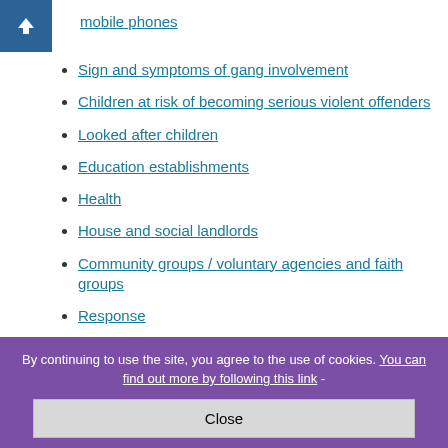mobile phones
Sign and symptoms of gang involvement
Children at risk of becoming serious violent offenders
Looked after children
Education establishments
Health
House and social landlords
Community groups / voluntary agencies and faith groups
Response
Parental engagement
By continuing to use the site, you agree to the use of cookies. You can find out more by following this link -
Close